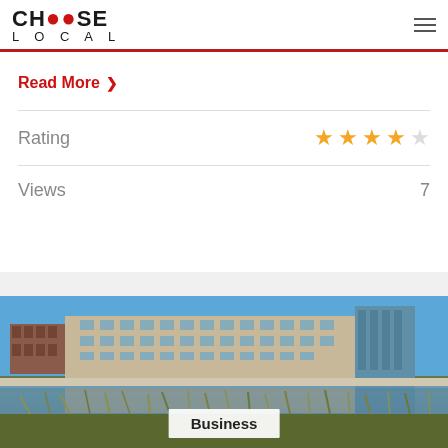CHOOSE LOCAL
Read More >
|  |  |
| --- | --- |
| Rating | ★★★★☆ |
| Views | 7 |
[Figure (photo): Exterior photograph of a large modern office building complex reflected in a pond, with tall reeds/grasses in the foreground and blue sky above]
Business